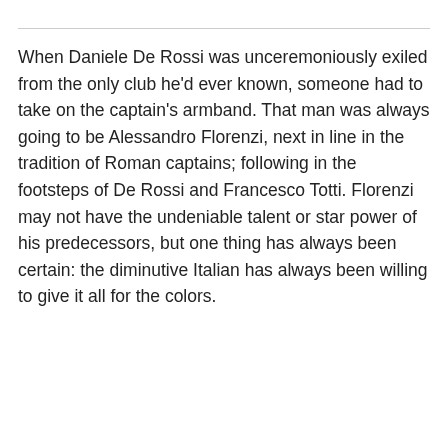When Daniele De Rossi was unceremoniously exiled from the only club he'd ever known, someone had to take on the captain's armband. That man was always going to be Alessandro Florenzi, next in line in the tradition of Roman captains; following in the footsteps of De Rossi and Francesco Totti. Florenzi may not have the undeniable talent or star power of his predecessors, but one thing has always been certain: the diminutive Italian has always been willing to give it all for the colors.